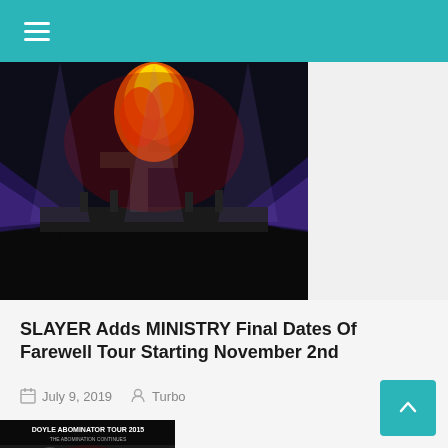[Figure (photo): Concert stage photo with dramatic fire effect above large cross/guitar shape, purple/blue stage lighting, crowd silhouettes in foreground, pyrotechnics]
SLAYER Adds MINISTRY Final Dates Of Farewell Tour Starting November 2nd
July 9, 2019  Turbo
[Figure (photo): Doyle Abominator Tour 2015 poster - black and white illustration featuring muscular figures, band logos including Doyle, Family Ruin, meet and greet package info, tour dates]